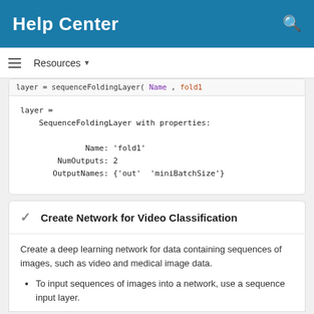Help Center
Resources ▼
layer = sequenceFoldingLayer( Name , fold1
layer =
    SequenceFoldingLayer with properties:

              Name: 'fold1'
        NumOutputs: 2
       OutputNames: {'out'  'miniBatchSize'}
Create Network for Video Classification
Create a deep learning network for data containing sequences of images, such as video and medical image data.
To input sequences of images into a network, use a sequence input layer.